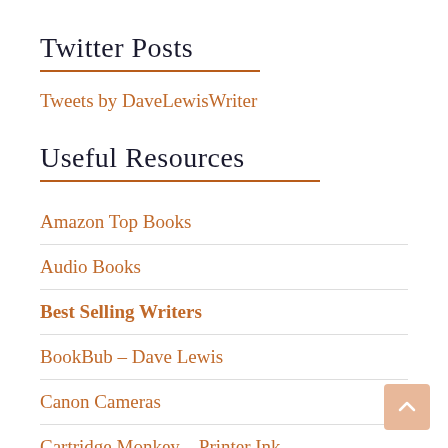Twitter Posts
Tweets by DaveLewisWriter
Useful Resources
Amazon Top Books
Audio Books
Best Selling Writers
BookBub – Dave Lewis
Canon Cameras
Cartridge Monkey – Printer Ink
Copyright FAQ